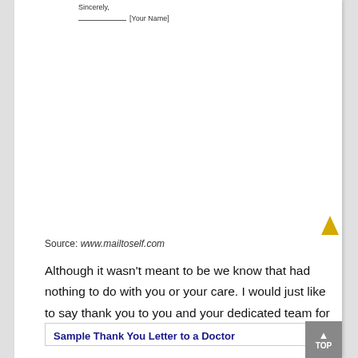Sincerely,
________________[Your Name]
Source: www.mailtoself.com
Although it wasn't meant to be we know that had nothing to do with you or your care. I would just like to say thank you to you and your dedicated team for taking care of.
Sample Thank You Letter to a Doctor